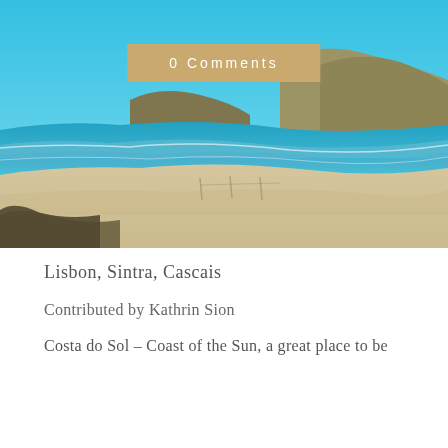[Figure (photo): Coastal beach panorama with clear blue sky, sandy beach, ocean waves, and rocky cliffs in the background — likely the Costa do Sol near Lisbon, Portugal]
0 Comments
Lisbon, Sintra, Cascais
Contributed by Kathrin Sion
Costa do Sol – Coast of the Sun, a great place to be